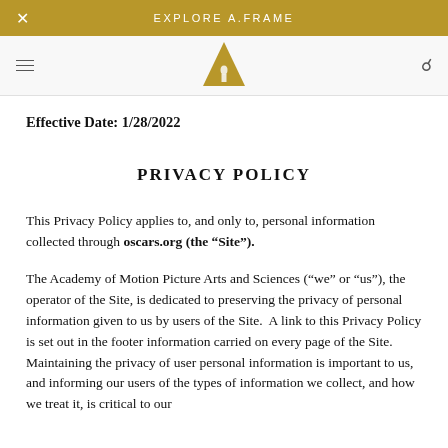EXPLORE A.FRAME
[Figure (logo): Oscars gold triangle/statuette logo]
Effective Date: 1/28/2022
PRIVACY POLICY
This Privacy Policy applies to, and only to, personal information collected through oscars.org (the “Site”).
The Academy of Motion Picture Arts and Sciences (“we” or “us”), the operator of the Site, is dedicated to preserving the privacy of personal information given to us by users of the Site.  A link to this Privacy Policy is set out in the footer information carried on every page of the Site.  Maintaining the privacy of user personal information is important to us, and informing our users of the types of information we collect, and how we treat it, is critical to our